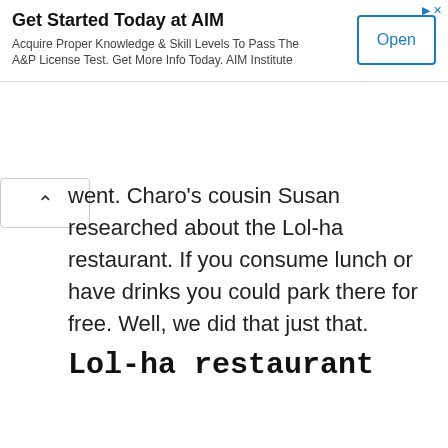[Figure (other): Advertisement banner for AIM Institute with title 'Get Started Today at AIM', subtitle text, and an Open button]
went. Charo's cousin Susan researched about the Lol-ha restaurant. If you consume lunch or have drinks you could park there for free. Well, we did that just that.
Lol-ha restaurant